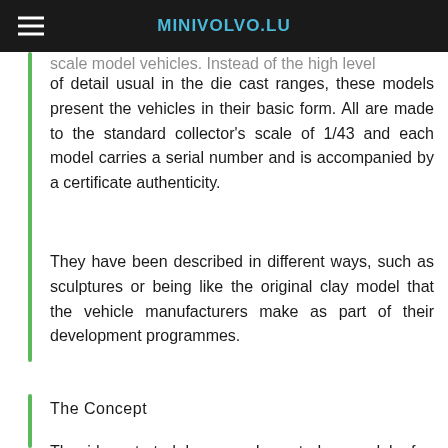MINIVOLVO.LU
scale model vehicles. Instead of the high level of detail usual in the die cast ranges, these models present the vehicles in their basic form. All are made to the standard collector's scale of 1/43 and each model carries a serial number and is accompanied by a certificate authenticity.
They have been described in different ways, such as sculptures or being like the original clay model that the vehicle manufacturers make as part of their development programmes.
The Concept
The idea started because I wanted a model of a special (full size) supercar that I was working on. The scale was decided by the